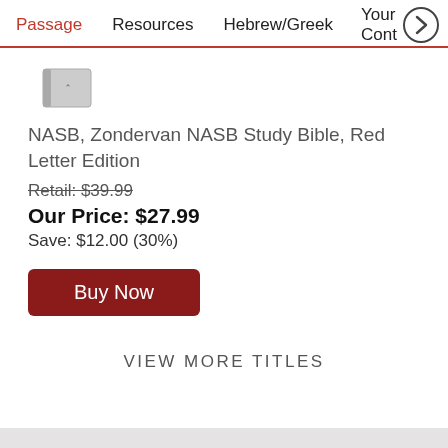Passage   Resources   Hebrew/Greek   Your Cont >
[Figure (illustration): Partial book cover thumbnail visible at top of product listing]
NASB, Zondervan NASB Study Bible, Red Letter Edition
Retail: $39.99
Our Price: $27.99
Save: $12.00 (30%)
Buy Now
VIEW MORE TITLES